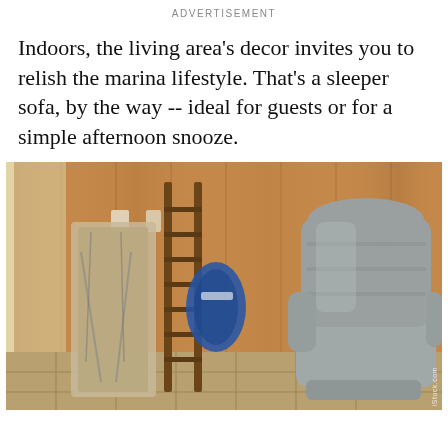ADVERTISEMENT
Indoors, the living area's decor invites you to relish the marina lifestyle. That's a sleeper sofa, by the way -- ideal for guests or for a simple afternoon snooze.
[Figure (photo): Interior room with wood-paneled walls, a gray upholstered recliner chair on the right, and folded chairs with a ladder leaning against the wall on the left. Tile floor visible at the bottom.]